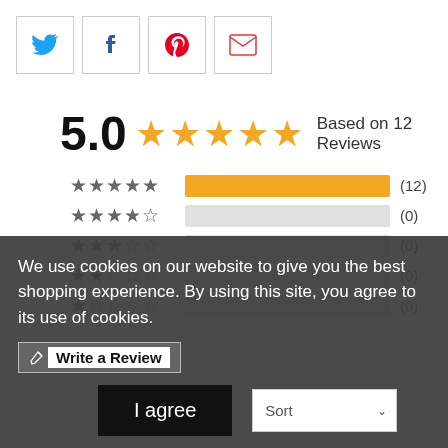[Figure (other): Social sharing icons row: Twitter (blue bird), Facebook (f), Pinterest (P red), Email (envelope red)]
5.0 ★★★★★ Based on 12 Reviews
[Figure (bar-chart): Rating breakdown]
We use cookies on our website to give you the best shopping experience. By using this site, you agree to its use of cookies.
✎ Write a Review
I agree
Sort